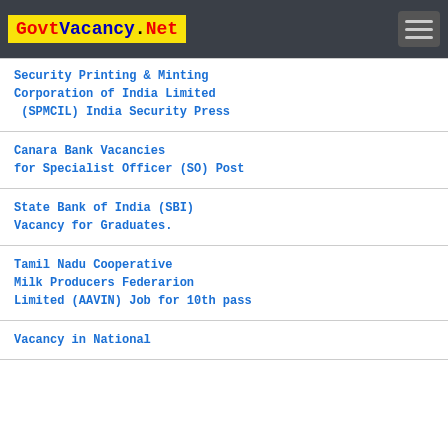GovtVacancy.Net
Security Printing & Minting Corporation of India Limited (SPMCIL) India Security Press
Canara Bank Vacancies for Specialist Officer (SO) Post
State Bank of India (SBI) Vacancy for Graduates.
Tamil Nadu Cooperative Milk Producers Federarion Limited (AAVIN) Job for 10th pass
Vacancy in National